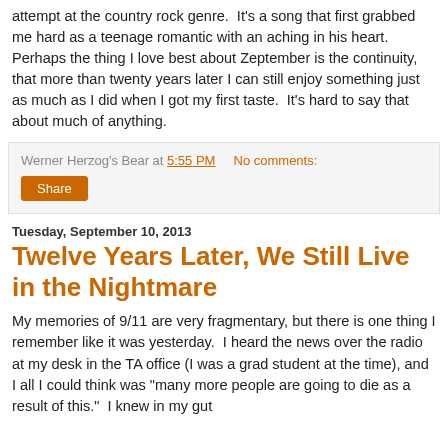attempt at the country rock genre. It's a song that first grabbed me hard as a teenage romantic with an aching in his heart. Perhaps the thing I love best about Zeptember is the continuity, that more than twenty years later I can still enjoy something just as much as I did when I got my first taste. It's hard to say that about much of anything.
Werner Herzog's Bear at 5:55 PM   No comments:
Share
Tuesday, September 10, 2013
Twelve Years Later, We Still Live in the Nightmare
My memories of 9/11 are very fragmentary, but there is one thing I remember like it was yesterday. I heard the news over the radio at my desk in the TA office (I was a grad student at the time), and I all I could think was "many more people are going to die as a result of this." I knew in my gut